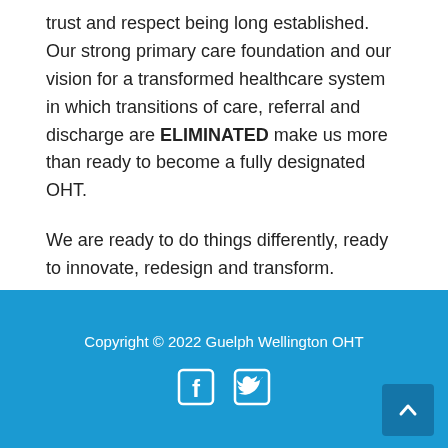trust and respect being long established. Our strong primary care foundation and our vision for a transformed healthcare system in which transitions of care, referral and discharge are ELIMINATED make us more than ready to become a fully designated OHT.
We are ready to do things differently, ready to innovate, redesign and transform.
Copyright © 2022 Guelph Wellington OHT